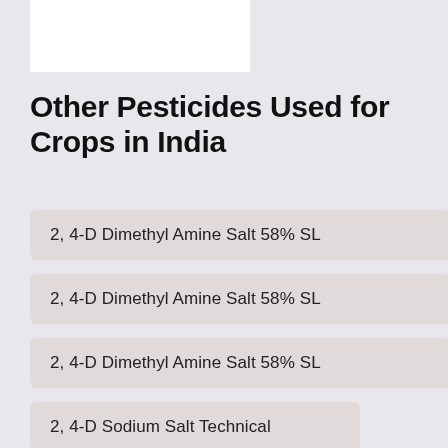[Figure (other): White rectangular box at top of page (likely logo placeholder)]
Other Pesticides Used for Crops in India
2, 4-D Dimethyl Amine Salt 58% SL
2, 4-D Dimethyl Amine Salt 58% SL
2, 4-D Dimethyl Amine Salt 58% SL
2, 4-D Sodium Salt Technical
Acetamiprid 0.4% + Chlorpyriphos 20% EC